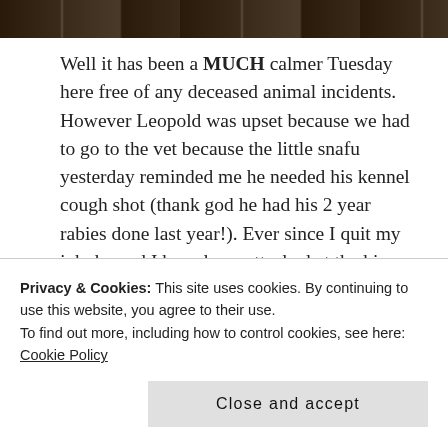[Figure (photo): Dark photo strip at the top of the page, showing blurred/dark indoor scene]
Well it has been a MUCH calmer Tuesday here free of any deceased animal incidents.  However Leopold was upset because we had to go to the vet because the little snafu yesterday reminded me he needed his kennel cough shot (thank god he had his 2 year rabies done last year!).  Ever since I quit my job, he and I have been attached at the hip – he goes everywhere and I'm starting to think it might not be a bad idea to start leaving him at home from time to time.  Sadly, he has a huge attitude when we're out
from constantly being around me and not having
Privacy & Cookies: This site uses cookies. By continuing to use this website, you agree to their use.
To find out more, including how to control cookies, see here: Cookie Policy
Close and accept